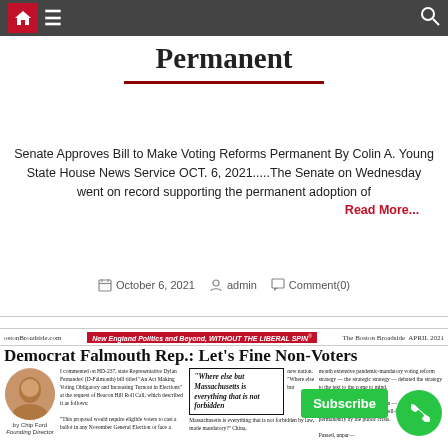Navigation bar with home, menu, and search icons
Permanent
Senate Approves Bill to Make Voting Reforms Permanent By Colin A. Young State House News Service OCT. 6, 2021.....The Senate on Wednesday went on record supporting the permanent adoption of
Read More...
October 6, 2021   admin   Comment(0)
[Figure (screenshot): Newspaper clipping from The Boston Broadside, April 2021. Headline: Democrat Falmouth Rep.: Let's Fine Non-Voters. Article by Chip Ford, featuring a photo of the author and pull quote: 'Where else but Massachusetts is everything that is not forbidden' alongside article text and a Subscribe button overlay.]